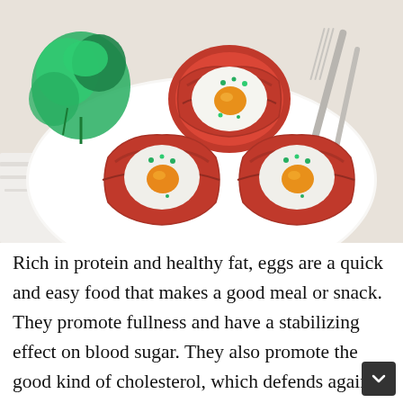[Figure (photo): Three bacon-wrapped baked egg cups garnished with chopped herbs, served on a white plate with a fork and knife, accompanied by fresh cilantro/parsley sprigs on a marble surface.]
Rich in protein and healthy fat, eggs are a quick and easy food that makes a good meal or snack. They promote fullness and have a stabilizing effect on blood sugar. They also promote the good kind of cholesterol, which defends against inflammation and chronic health problems.  Eggs are rich in folate, B12, selenium, and a host of